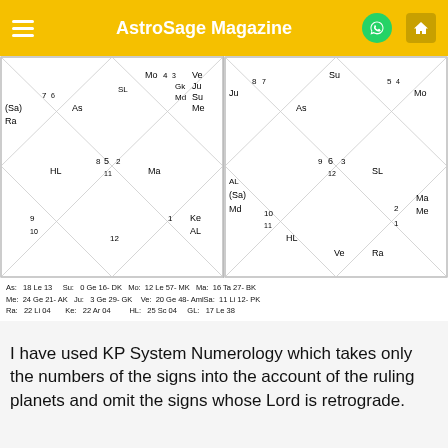AstroSage Magazine
[Figure (other): Two Vedic/KP astrology birth chart diagrams (South Indian style) side by side with planetary positions labeled. Left chart shows: Mo, SL, Ve/Ju/Su/Md/Gk/Me, (Sa)/Ra with 7/6, As with 4/3, HL with 8/5/2/11, Ma with 1/12, Ke/AL. Right chart shows: Su, Ju/8/7, As/5/4, Mo, SL/9/6/3/12, Ma/Me/2/1, Ve/Ra, HL, AL/(Sa)/Md with 10/11, Ra.]
As: 18 Le 13   Su: 0 Ge 16- DK   Mo: 12 Le 57- MK   Ma: 16 Ta 27- BK
Me: 24 Ge 21- AK   Ju: 3 Ge 29- GK   Ve: 20 Ge 48- AmlSa: 11 Li 12- PK
Ra: 22 Li 04   Ke: 22 Ar 04   HL: 25 Sc 04   GL: 17 Le 38
I have used KP System Numerology which takes only the numbers of the signs into the account of the ruling planets and omit the signs whose Lord is retrograde.